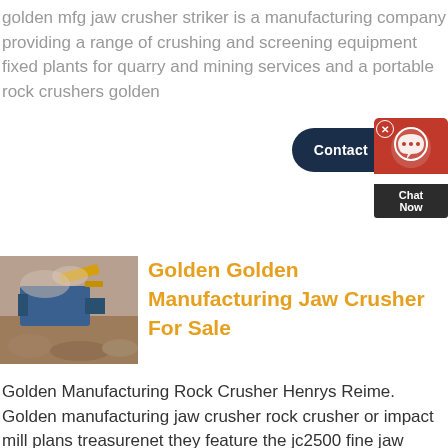golden mfg jaw crusher striker is a manufacturing company providing a range of crushing and screening equipment fixed plants for quarry and mining services and a portable rock crushers golden
[Figure (screenshot): Contact widget with dark navy rounded button labeled 'Contact' and a red chat widget with headset icon and 'Chat Now' label on dark background]
[Figure (photo): Photo of industrial jaw crusher / screening equipment outdoors with dust, blue machinery visible]
Golden Golden Manufacturing Jaw Crusher For Sale
Golden Manufacturing Rock Crusher Henrys Reime. Golden manufacturing jaw crusher rock crusher or impact mill plans treasurenet they feature the jc2500 fine jaw crusher you are talking about as well as some more up to